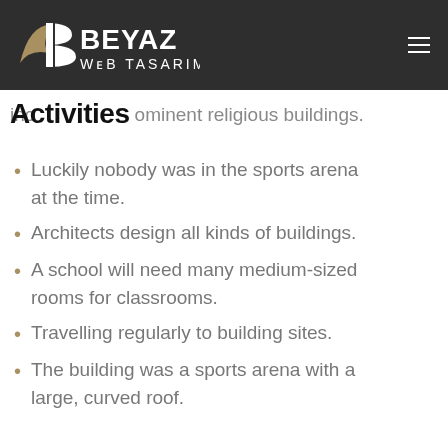BEYAZ WEB TASARIM
Activities
including ominent religious buildings.
Luckily nobody was in the sports arena at the time.
Architects design all kinds of buildings.
A school will need many medium-sized rooms for classrooms.
Travelling regularly to building sites.
The building was a sports arena with a large, curved roof.